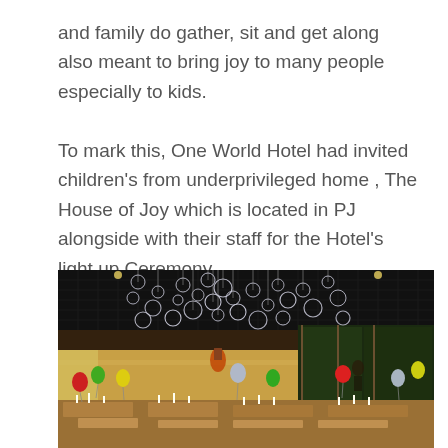and family do gather, sit and get along also meant to bring joy to many people especially to kids.

To mark this, One World Hotel had invited children's from underprivileged home , The House of Joy which is located in PJ alongside with their staff for the Hotel's light up Ceremony.
[Figure (photo): Interior of a hotel restaurant/ballroom decorated for a celebration. Hundreds of transparent crystal/glass ball ornaments hang from the dark ceiling. Tables are set with candles and place settings. Colorful balloons (red, green, yellow, silver) are scattered around the room. The back wall shows warm lighting and a glass wall on the right overlooks greenery outside.]